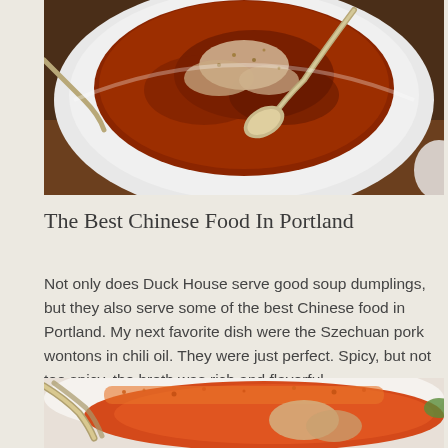[Figure (photo): Close-up photo of a bowl of dark reddish-brown soup or sauce dish with dumplings/wontons and a spoon scooping some out, on a wooden table background.]
The Best Chinese Food In Portland
Not only does Duck House serve good soup dumplings, but they also serve some of the best Chinese food in Portland. My next favorite dish were the Szechuan pork wontons in chili oil. They were just perfect. Spicy, but not too spicy, the broth was rich and flavorful.
[Figure (photo): Close-up photo of a white bowl containing orange-red chili oil broth with wontons and a spoon, sprinkled with orange spice powder.]